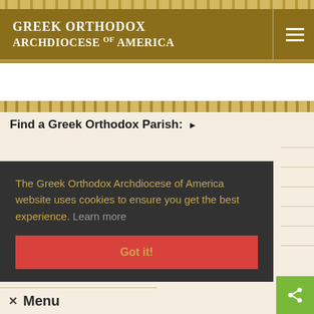Greek Orthodox Archdiocese of America
Find a Greek Orthodox Parish:
The Greek Orthodox Archdiocese of America website uses cookies to ensure you get the best experience. Learn more
Got it!
Menu